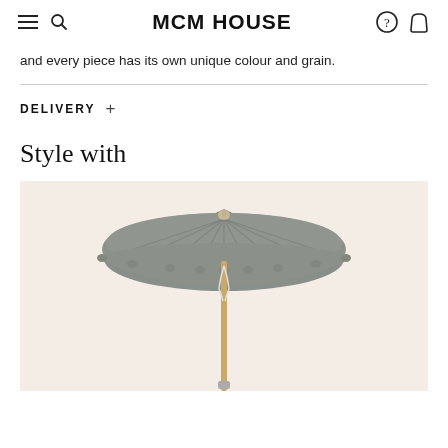MCM HOUSE
and every piece has its own unique colour and grain.
DELIVERY +
Style with
[Figure (photo): A patio umbrella with a grey/sage canopy and a wooden pole, displayed against a light beige background.]